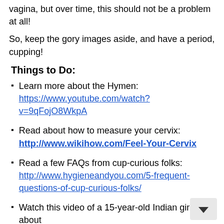vagina, but over time, this should not be a problem at all!
So, keep the gory images aside, and have a period, cupping!
Things to Do:
Learn more about the Hymen: https://www.youtube.com/watch?v=9qFojO8WkpA
Read about how to measure your cervix: http://www.wikihow.com/Feel-Your-Cervix
Read a few FAQs from cup-curious folks: http://www.hygieneandyou.com/5-frequent-questions-of-cup-curious-folks/
Watch this video of a 15-year-old Indian girl talk about